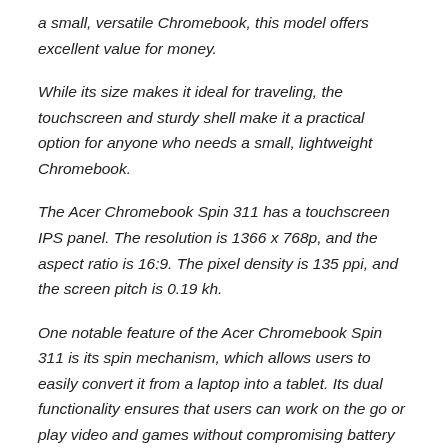a small, versatile Chromebook, this model offers excellent value for money.
While its size makes it ideal for traveling, the touchscreen and sturdy shell make it a practical option for anyone who needs a small, lightweight Chromebook.
The Acer Chromebook Spin 311 has a touchscreen IPS panel. The resolution is 1366 x 768p, and the aspect ratio is 16:9. The pixel density is 135 ppi, and the screen pitch is 0.19 kh.
One notable feature of the Acer Chromebook Spin 311 is its spin mechanism, which allows users to easily convert it from a laptop into a tablet. Its dual functionality ensures that users can work on the go or play video and games without compromising battery life.
The keyboard on the Acer Spin 311 is decently well built. This laptop is equipped with an Intel Celeron N4020 processor, 4GB